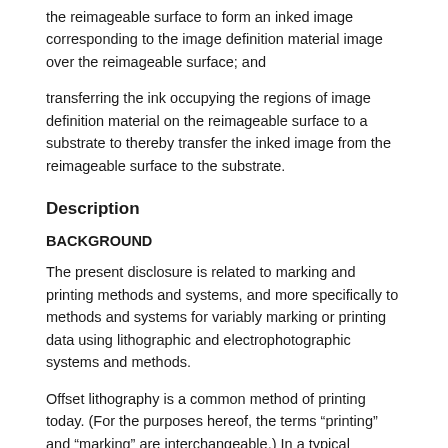the reimageable surface to form an inked image corresponding to the image definition material image over the reimageable surface; and
transferring the ink occupying the regions of image definition material on the reimageable surface to a substrate to thereby transfer the inked image from the reimageable surface to the substrate.
Description
BACKGROUND
The present disclosure is related to marking and printing methods and systems, and more specifically to methods and systems for variably marking or printing data using lithographic and electrophotographic systems and methods.
Offset lithography is a common method of printing today. (For the purposes hereof, the terms “printing” and “marking” are interchangeable.) In a typical lithographic process a printing plate, which may be a flat plate, the surface of a cylinder or belt, etc., is formed to have “image